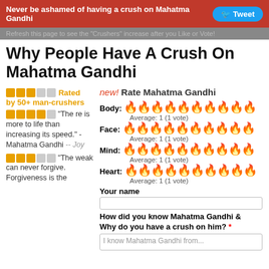Never be ashamed of having a crush on Mahatma Gandhi   Tweet
Refresh this page to see the "Crushers" increase after you Like or Vote!
Why People Have A Crush On Mahatma Gandhi
Rated by 50+ man-crushers
"There is more to life than increasing its speed." - Mahatma Gandhi -- Joy
"The weak can never forgive. Forgiveness is the
new! Rate Mahatma Gandhi
Body: 🔥🔥🔥🔥🔥🔥🔥🔥🔥🔥
Average: 1 (1 vote)
Face: 🔥🔥🔥🔥🔥🔥🔥🔥🔥🔥
Average: 1 (1 vote)
Mind: 🔥🔥🔥🔥🔥🔥🔥🔥🔥🔥
Average: 1 (1 vote)
Heart: 🔥🔥🔥🔥🔥🔥🔥🔥🔥🔥
Average: 1 (1 vote)
Your name
How did you know Mahatma Gandhi & Why do you have a crush on him? *
I know Mahatma Gandhi from...